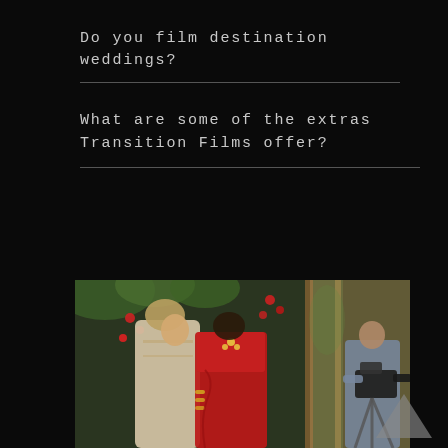Do you film destination weddings?
What are some of the extras Transition Films offer?
[Figure (photo): A couple in traditional Indian wedding attire embracing in front of large windows decorated with flowers, while a videographer films them from the right side.]